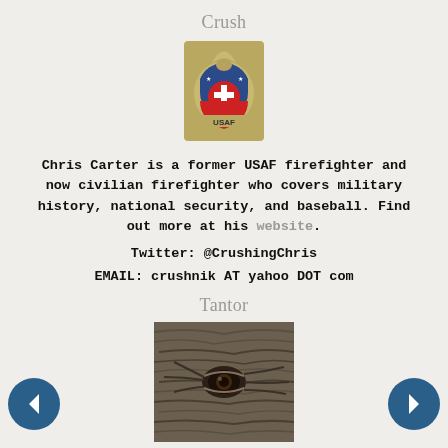Crush
[Figure (logo): USAF Fire Protection badge/emblem — circular emblem with eagle on top, red cross in center on blue and red background, 'USAF' text at bottom, gold/olive colored border]
Chris Carter is a former USAF firefighter and now civilian firefighter who covers military history, national security, and baseball. Find out more at his website.
Twitter: @CrushingChris
EMAIL: crushnik AT yahoo DOT com
Tantor
[Figure (photo): Close-up photo of an elephant's eye showing wrinkled skin and detailed texture in grayscale/sepia tones]
Tantor is a former USAF navigator/weapon system officer (WSO) in F-4E Phantoms who